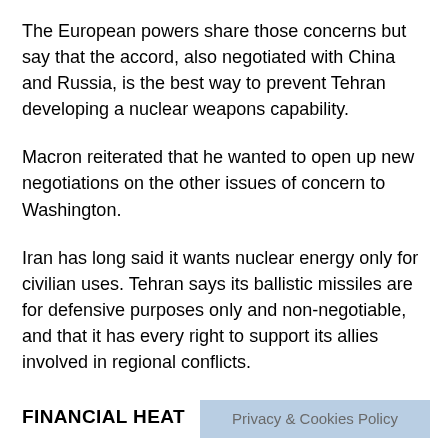The European powers share those concerns but say that the accord, also negotiated with China and Russia, is the best way to prevent Tehran developing a nuclear weapons capability.
Macron reiterated that he wanted to open up new negotiations on the other issues of concern to Washington.
Iran has long said it wants nuclear energy only for civilian uses. Tehran says its ballistic missiles are for defensive purposes only and non-negotiable, and that it has every right to support its allies involved in regional conflicts.
FINANCIAL HEAT
The European powers are trying to come up with a package to ring-fence trade with Iran against renewed U.S. financial sanctions to dissuade Teh... rd.
Privacy & Cookies Policy